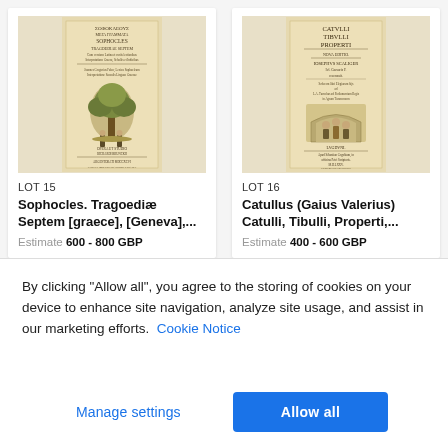[Figure (photo): Antique book cover of Sophocles Tragoediae Septem with woodcut illustration]
LOT 15
Sophocles. Tragoediæ Septem [graece], [Geneva],...
Estimate 600 - 800 GBP
[Figure (photo): Antique book cover of Catulli Tibulli Properti with woodcut illustration]
LOT 16
Catullus (Gaius Valerius) Catulli, Tibulli, Properti,...
Estimate 400 - 600 GBP
By clicking "Allow all", you agree to the storing of cookies on your device to enhance site navigation, analyze site usage, and assist in our marketing efforts.  Cookie Notice
Manage settings
Allow all